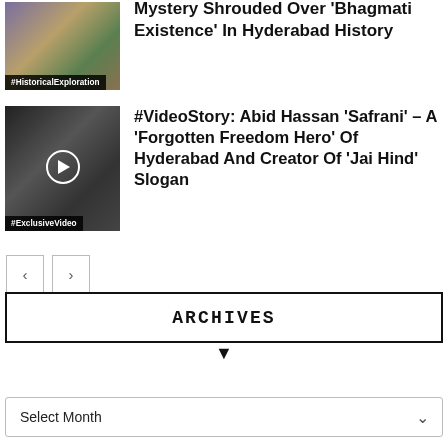[Figure (photo): Thumbnail image with tag #HistoricalExploration at bottom]
Mystery Shrouded Over ‘Bhagmati Existence’ In Hyderabad History
[Figure (photo): Thumbnail image with play button and tag #ExclusiveVideo at bottom]
#VideoStory: Abid Hassan ‘Safrani’ – A ‘Forgotten Freedom Hero’ Of Hyderabad And Creator Of ‘Jai Hind’ Slogan
ARCHIVES